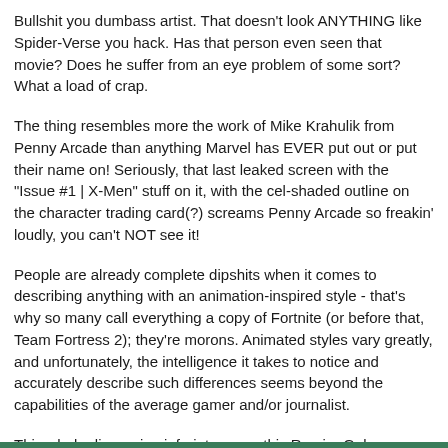Bullshit you dumbass artist. That doesn't look ANYTHING like Spider-Verse you hack. Has that person even seen that movie? Does he suffer from an eye problem of some sort? What a load of crap.
The thing resembles more the work of Mike Krahulik from Penny Arcade than anything Marvel has EVER put out or put their name on! Seriously, that last leaked screen with the "Issue #1 | X-Men" stuff on it, with the cel-shaded outline on the character trading card(?) screams Penny Arcade so freakin' loudly, you can't NOT see it!
People are already complete dipshits when it comes to describing anything with an animation-inspired style - that's why so many call everything a copy of Fortnite (or before that, Team Fortress 2); they're morons. Animated styles vary greatly, and unfortunately, the intelligence it takes to notice and accurately describe such differences seems beyond the capabilities of the average gamer and/or journalist.
This whole discussion infuriates me - this Ramiro Galan sounds like a complete idiot and an obvious liar. I'm so glad this